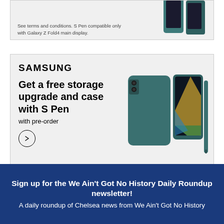[Figure (illustration): Top cropped Samsung Galaxy Z Fold4 advertisement showing partial product image on right and disclaimer text on lower left]
[Figure (illustration): Samsung advertisement for Galaxy Z Fold4 with Samsung logo, headline 'Get a free storage upgrade and case with S Pen', subline 'with pre-order', arrow button, product image of teal Galaxy Z Fold4 with S Pen, product name 'Galaxy Z Fold4', and disclaimer text]
Sign up for the We Ain't Got No History Daily Roundup newsletter!
A daily roundup of Chelsea news from We Ain't Got No History